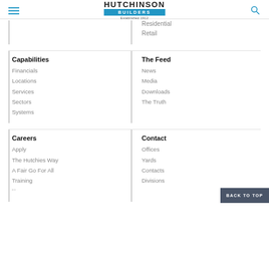HUTCHINSON BUILDERS — Established 1912
Residential
Retail
Capabilities
Financials
Locations
Services
Sectors
Systems
The Feed
News
Media
Downloads
The Truth
Careers
Apply
The Hutchies Way
A Fair Go For All
Training
Contact
Offices
Yards
Contacts
Divisions